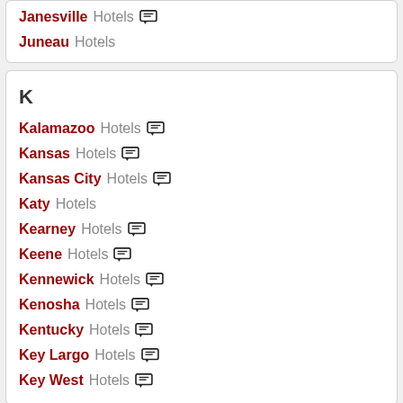Janesville Hotels
Juneau Hotels
K
Kalamazoo Hotels
Kansas Hotels
Kansas City Hotels
Katy Hotels
Kearney Hotels
Keene Hotels
Kennewick Hotels
Kenosha Hotels
Kentucky Hotels
Key Largo Hotels
Key West Hotels